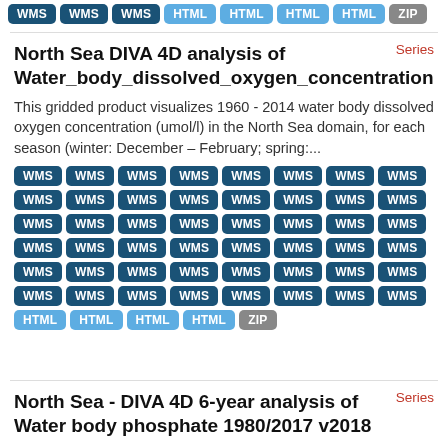[Figure (other): Row of WMS, HTML, ZIP badge tags at top of page]
Series
North Sea DIVA 4D analysis of Water_body_dissolved_oxygen_concentration
This gridded product visualizes 1960 - 2014 water body dissolved oxygen concentration (umol/l) in the North Sea domain, for each season (winter: December – February; spring:...
[Figure (other): Grid of WMS, HTML, and ZIP badge tags]
Series
North Sea - DIVA 4D 6-year analysis of Water body phosphate 1980/2017 v2018
Moving 6-year analysis of Water_body_phosphate in the North Sea. Four seasons (March-May, June-August, September-November, December-February)